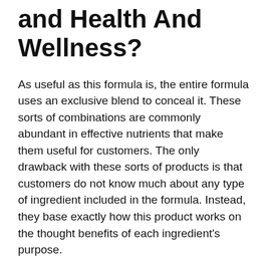and Health And Wellness?
As useful as this formula is, the entire formula uses an exclusive blend to conceal it. These sorts of combinations are commonly abundant in effective nutrients that make them useful for customers. The only drawback with these sorts of products is that customers do not know much about any type of ingredient included in the formula. Instead, they base exactly how this product works on the thought benefits of each ingredient's purpose.
Java Burn has natural ingredients that work